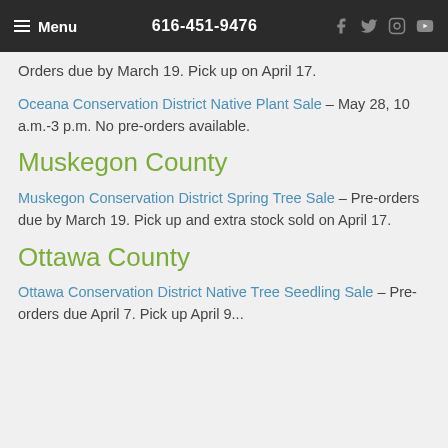☰ Menu   616-451-9476
Orders due by March 19. Pick up on April 17.
Oceana Conservation District Native Plant Sale – May 28, 10 a.m.-3 p.m. No pre-orders available.
Muskegon County
Muskegon Conservation District Spring Tree Sale – Pre-orders due by March 19. Pick up and extra stock sold on April 17.
Ottawa County
Ottawa Conservation District Native Tree Seedling Sale – Pre-orders due April 7. Pick up April 9...